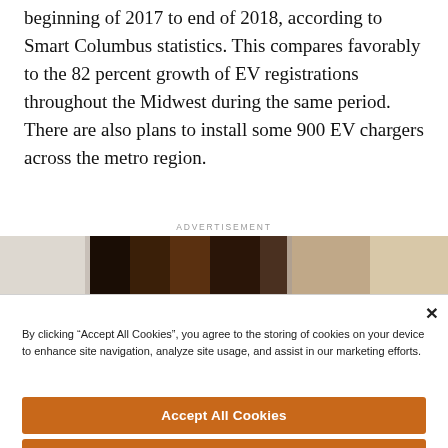beginning of 2017 to end of 2018, according to Smart Columbus statistics. This compares favorably to the 82 percent growth of EV registrations throughout the Midwest during the same period. There are also plans to install some 900 EV chargers across the metro region.
[Figure (photo): Partial advertisement image strip showing a dark close-up photo, likely food or nature, with label ADVERTISEMENT above]
By clicking "Accept All Cookies", you agree to the storing of cookies on your device to enhance site navigation, analyze site usage, and assist in our marketing efforts.
Accept All Cookies
Reject All
Cookies Settings